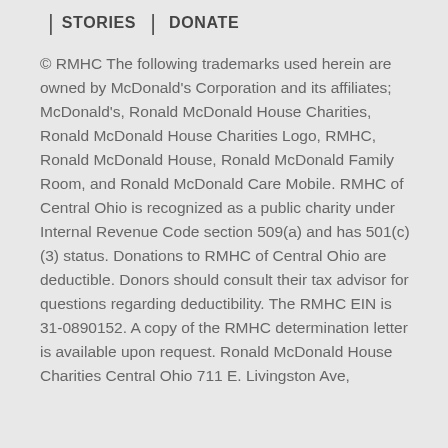STORIES | DONATE
© RMHC The following trademarks used herein are owned by McDonald's Corporation and its affiliates; McDonald's, Ronald McDonald House Charities, Ronald McDonald House Charities Logo, RMHC, Ronald McDonald House, Ronald McDonald Family Room, and Ronald McDonald Care Mobile. RMHC of Central Ohio is recognized as a public charity under Internal Revenue Code section 509(a) and has 501(c)(3) status. Donations to RMHC of Central Ohio are deductible. Donors should consult their tax advisor for questions regarding deductibility. The RMHC EIN is 31-0890152. A copy of the RMHC determination letter is available upon request. Ronald McDonald House Charities Central Ohio 711 E. Livingston Ave,